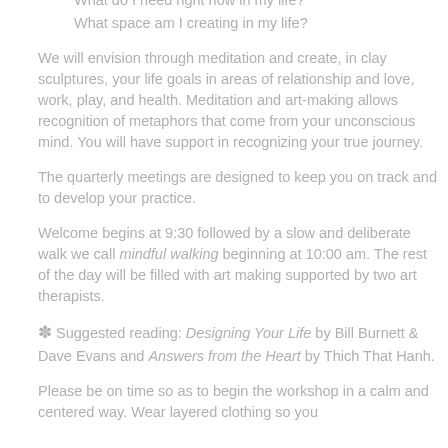What do I need right now in my life?
What space am I creating in my life?
We will envision through meditation and create, in clay sculptures, your life goals in areas of relationship and love, work, play, and health. Meditation and art-making allows recognition of metaphors that come from your unconscious mind. You will have support in recognizing your true journey.
The quarterly meetings are designed to keep you on track and to develop your practice.
Welcome begins at 9:30 followed by a slow and deliberate walk we call mindful walking beginning at 10:00 am. The rest of the day will be filled with art making supported by two art therapists.
✽ Suggested reading: Designing Your Life by Bill Burnett & Dave Evans and Answers from the Heart by Thich That Hanh.
Please be on time so as to begin the workshop in a calm and centered way. Wear layered clothing so you